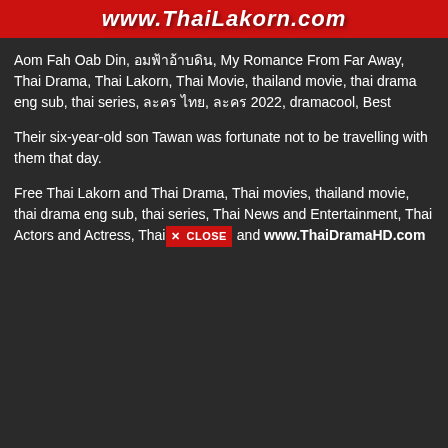[Figure (other): Red banner with white bold italic text: www.ThaiLakorn.com]
Aom Fah Oab Din, อมฟ้าอ้าบดิน, My Romance From Far Away, Thai Drama, Thai Lakorn, Thai Movie, thailand movie, thai drama eng sub, thai series, ละคร ไทย, ละคร 2022, dramacool, Best
Their six-year-old son Tawan was fortunate not to be travelling with them that day.
Free Thai Lakorn and Thai Drama, Thai movies, thailand movie, thai drama eng sub, thai series, Thai News and Entertainment, Thai Actors and Actress, Thai × CLOSE and www.ThaiDramaHD.com